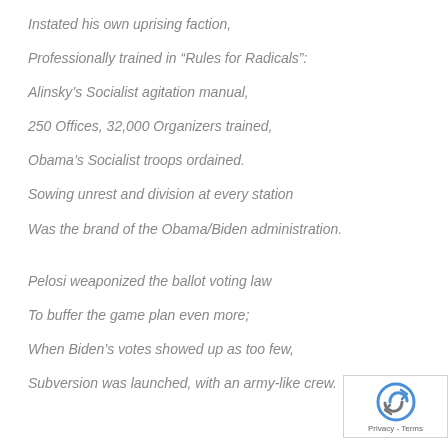Instated his own uprising faction,
Professionally trained in “Rules for Radicals”:
Alinsky’s Socialist agitation manual,
250 Offices, 32,000 Organizers trained,
Obama’s Socialist troops ordained.
Sowing unrest and division at every station
Was the brand of the Obama/Biden administration.
Pelosi weaponized the ballot voting law
To buffer the game plan even more;
When Biden’s votes showed up as too few,
Subversion was launched, with an army-like crew.